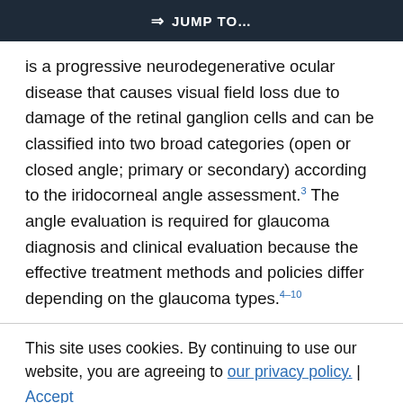JUMP TO...
is a progressive neurodegenerative ocular disease that causes visual field loss due to damage of the retinal ganglion cells and can be classified into two broad categories (open or closed angle; primary or secondary) according to the iridocorneal angle assessment.3 The angle evaluation is required for glaucoma diagnosis and clinical evaluation because the effective treatment methods and policies differ depending on the glaucoma types.4–10
The current clinical standard for angle evaluation is
This site uses cookies. By continuing to use our website, you are agreeing to our privacy policy. | Accept
the 1060s gonioscopy a contact method developed in the 1900s that requires topical anesthesia and patient cooperation.5,6,11–13 Gonioscopy using an